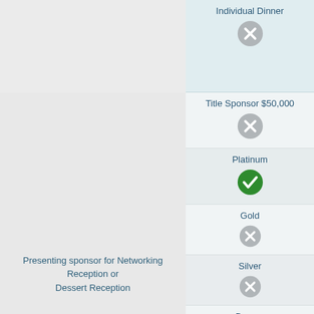| Benefit | Individual Dinner | Title Sponsor $50,000 | Platinum | Gold | Silver | Bronze | Patron |
| --- | --- | --- | --- | --- | --- | --- | --- |
| Presenting sponsor for Networking Reception or Dessert Reception | ✗ | ✗ | ✓ | ✗ | ✗ | ✗ | ✗ |